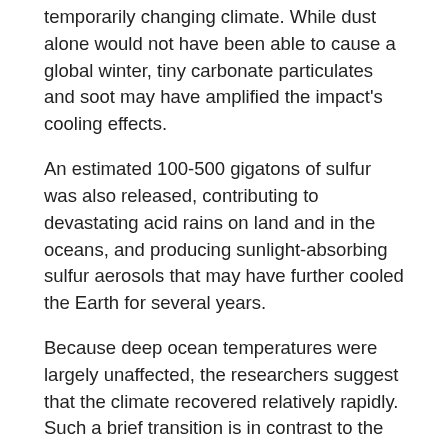temporarily changing climate. While dust alone would not have been able to cause a global winter, tiny carbonate particulates and soot may have amplified the impact's cooling effects.
An estimated 100-500 gigatons of sulfur was also released, contributing to devastating acid rains on land and in the oceans, and producing sunlight-absorbing sulfur aerosols that may have further cooled the Earth for several years.
Because deep ocean temperatures were largely unaffected, the researchers suggest that the climate recovered relatively rapidly. Such a brief transition is in contrast to the centuries-long influx of material into the atmosphere that would result from volcanic activity. Despite the enormity of the Deccan Traps volcanism, sulfur release, for example, might not surpass one half of a gigaton in a year.
At the slower pace of volcanism, organisms would have more time to react, and climatic changes may have approached 2 degrees Celsius of warming, as opposed to cooling.
"The Chicxulub impact was an extremely rapid perturbation of the Earth's ecosystems, at a scale greater than that of any single volcanic event at the time, or of any other impact known since life